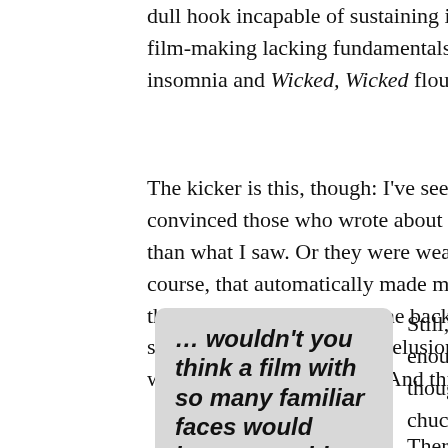dull hook incapable of sustaining interest, snooze-worth film-making lacking fundamentals and enough drollness insomnia and Wicked, Wicked flounders utterly.
The kicker is this, though: I've seen other reviews of the f convinced those who wrote about it saw a completely dif than what I saw. Or they were wearing rose colored glasse course, that automatically made me question what I'd se then, almost instantly, I came back to the real world and sense. Yes, I'm sometimes delusional . . . but not so much what a bad film looks like. And this? This is a bad film.
… wouldn't you think a film with so many familiar faces would have something
Still, there are a few items enough to make you sit up s though. Just little asides to chuckle or two.
There's an organist in the fi